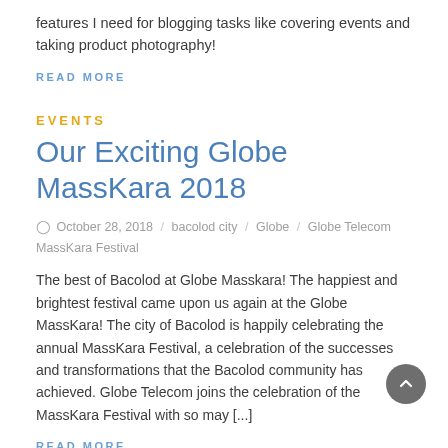features I need for blogging tasks like covering events and taking product photography!
READ MORE
EVENTS
Our Exciting Globe MassKara 2018
October 28, 2018   bacolod city   Globe   Globe Telecom   MassKara Festival
The best of Bacolod at Globe Masskara! The happiest and brightest festival came upon us again at the Globe MassKara! The city of Bacolod is happily celebrating the annual MassKara Festival, a celebration of the successes and transformations that the Bacolod community has achieved. Globe Telecom joins the celebration of the MassKara Festival with so may [...]
READ MORE